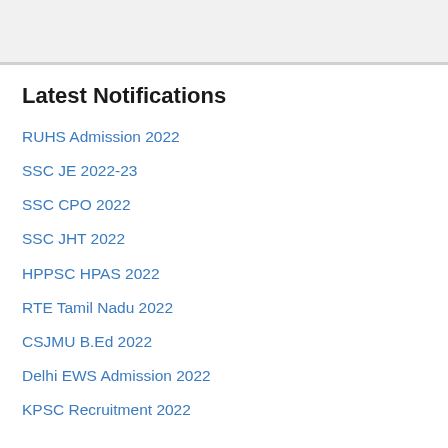Latest Notifications
RUHS Admission 2022
SSC JE 2022-23
SSC CPO 2022
SSC JHT 2022
HPPSC HPAS 2022
RTE Tamil Nadu 2022
CSJMU B.Ed  2022
Delhi EWS Admission 2022
KPSC Recruitment 2022